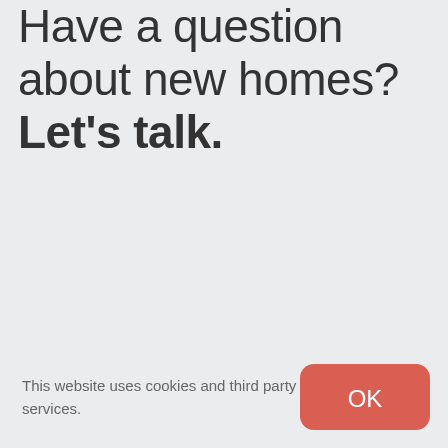Have a question about new homes? Let's talk.
This website uses cookies and third party services.
[Figure (other): OK button - rounded red/coral button with white OK text]